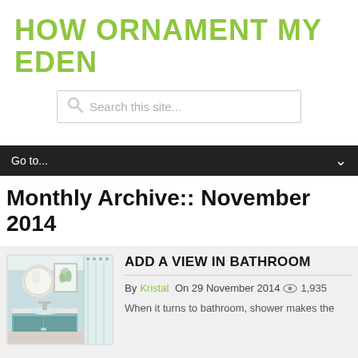HOW ORNAMENT MY EDEN
[Figure (screenshot): Search box with placeholder text 'Search this site...' and a search icon on the left]
Go to...
Monthly Archive:: November 2014
[Figure (photo): Bathroom interior with round mirror, sink, blue cabinet, framed botanical print, and shower curtain]
ADD A VIEW IN BATHROOM
By Kristal On 29 November 2014  1,935
When it turns to bathroom, shower makes the